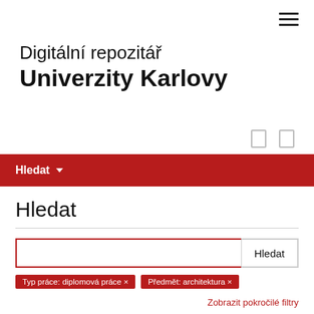[Figure (other): Hamburger menu icon (three horizontal lines) in top-right corner]
Digitální repozitář Univerzity Karlovy
[Figure (other): Two small rectangle icon buttons]
Hledat ▾
Hledat
[Figure (other): Search input field with Hledat button]
Typ práce: diplomová práce ×
Předmět: architektura ×
Zobrazit pokročilé filtry